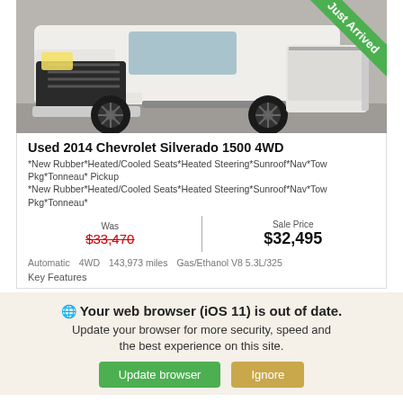[Figure (photo): White Chevrolet Silverado 1500 4WD truck photographed from the front-left angle in a parking lot. A green 'Just Arrived' diagonal banner badge appears in the top-right corner of the photo.]
Used 2014 Chevrolet Silverado 1500 4WD
*New Rubber*Heated/Cooled Seats*Heated Steering*Sunroof*Nav*Tow Pkg*Tonneau* Pickup
*New Rubber*Heated/Cooled Seats*Heated Steering*Sunroof*Nav*Tow Pkg*Tonneau*
Was $33,470 | Sale Price $32,495
Automatic   4WD   143,973 miles   Gas/Ethanol V8 5.3L/325
Key Features
Your web browser (iOS 11) is out of date. Update your browser for more security, speed and the best experience on this site.
Update browser   Ignore